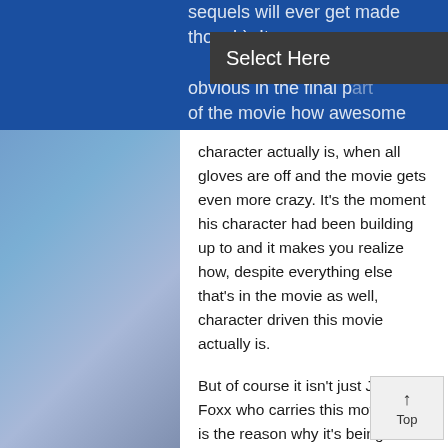sequels will ever get made though). It especially becomes obvious in the final part of the movie how awesome and great his
[Figure (screenshot): A dark dropdown/select widget with label 'Select Here' and a chevron arrow on the right]
character actually is, when all gloves are off and the movie gets even more crazy. It's the moment his character had been building up to and it makes you realize how, despite everything else that's in the movie as well, character driven this movie actually is.
But of course it isn't just Jamie Foxx who carries this movie and is the reason why it's being such a great and entertaining one to watch. Christoph Waltz once more plays a great, strong and memorable role in a Quentin Tarantino movie, with some very impressive acting. Just equally as great and perhaps even better is Leonardo DiCaprio, as a villain for a change. But still biggest surprise in this movie, I thought, was Samuel L. Jackson. Did it really come to ...